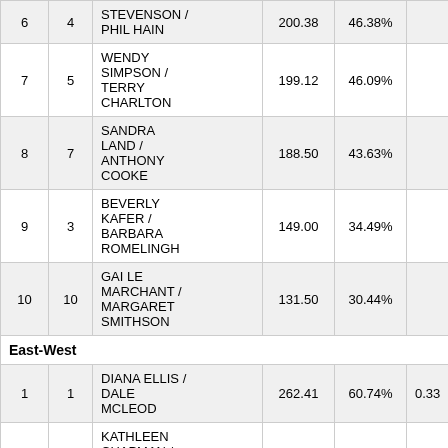|  |  | Name | Score | % |  |
| --- | --- | --- | --- | --- | --- |
| 6 | 4 | STEVENSON / PHIL HAIN | 200.38 | 46.38% |  |
| 7 | 5 | WENDY SIMPSON / TERRY CHARLTON | 199.12 | 46.09% |  |
| 8 | 7 | SANDRA LAND / ANTHONY COOKE | 188.50 | 43.63% |  |
| 9 | 3 | BEVERLY KAFER / BARBARA ROMELINGH | 149.00 | 34.49% |  |
| 10 | 10 | GAI LE MARCHANT / MARGARET SMITHSON | 131.50 | 30.44% |  |
| East-West |  |  |  |  |  |
| 1 | 1 | DIANA ELLIS / DALE MCLEOD | 262.41 | 60.74% | 0.33 |
| 2 | 5 | KATHLEEN CHAPMAN / ALISON GONINAN | 261.70 | 60.58% | 0.23 |
|  |  | COLLEEN |  |  |  |